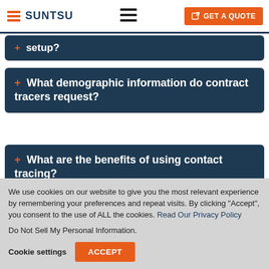SUNTSU | GET A QUOTE
+ What demographic information do contract tracers request?
+ What are the benefits of using contact tracing?
We use cookies on our website to give you the most relevant experience by remembering your preferences and repeat visits. By clicking “Accept”, you consent to the use of ALL the cookies. Read Our Privacy Policy
Do Not Sell My Personal Information.
Cookie settings  ACCEPT